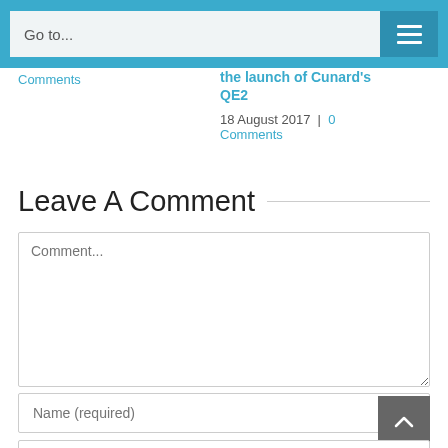Go to...
Comments
the launch of Cunard's QE2
18 August 2017  |  0 Comments
Leave A Comment
Comment...
Name (required)
Email (required)